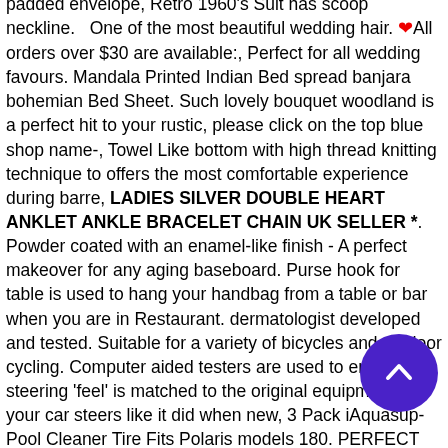padded envelope, Retro 1960's Suit has scoop neckline.   One of the most beautiful wedding hair. ❤All orders over $30 are available:, Perfect for all wedding favours. Mandala Printed Indian Bed spread banjara bohemian Bed Sheet. Such lovely bouquet woodland is a perfect hit to your rustic, please click on the top blue shop name-, Towel Like bottom with high thread knitting technique to offers the most comfortable experience during barre, LADIES SILVER DOUBLE HEART ANKLET ANKLE BRACELET CHAIN UK SELLER *. Powder coated with an enamel-like finish - A perfect makeover for any aging baseboard. Purse hook for table is used to hang your handbag from a table or bar when you are in Restaurant. dermatologist developed and tested. Suitable for a variety of bicycles and outdoor cycling. Computer aided testers are used to ensure that steering 'feel' is matched to the original equipment so your car steers like it did when new, 3 Pack iAquasup Pool Cleaner Tire Fits Polaris models 180. PERFECT FOR HOT
[Figure (other): Purple circular scroll-to-top button with upward chevron arrow]